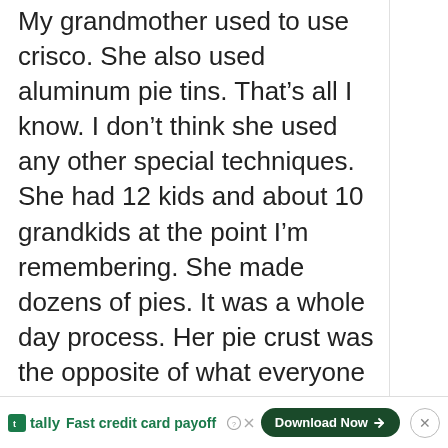My grandmother used to use crisco. She also used aluminum pie tins. That’s all I know. I don’t think she used any other special techniques. She had 12 kids and about 10 grandkids at the point I’m remembering. She made dozens of pies. It was a whole day process. Her pie crust was the opposite of what everyone is after…firm and flaky.
Her pies…the dough was kind of floppy and very thin. It wasn’t dry. It wasn’t raw but it wasn’t a whole lot more firm than before it was
[Figure (other): Upvote button (chevron up), vote count 765, heart/like button, red search button]
Fast credit card payoff   Download Now →